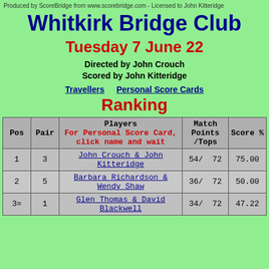Produced by ScoreBridge from www.scorebridge.com - Licensed to John Kitteridge
Whitkirk Bridge Club
Tuesday 7 June 22
Directed by John Crouch
Scored by John Kitteridge
Travellers   Personal Score Cards
Ranking
| Pos | Pair | Players
For Personal Score Card, click name and wait | Match Points /Tops | Score % |
| --- | --- | --- | --- | --- |
| 1 | 3 | John Crouch & John Kitteridge | 54/  72 | 75.00 |
| 2 | 5 | Barbara Richardson & Wendy Shaw | 36/  72 | 50.00 |
| 3= | 1 | Glen Thomas & David Blackwell | 34/  72 | 47.22 |